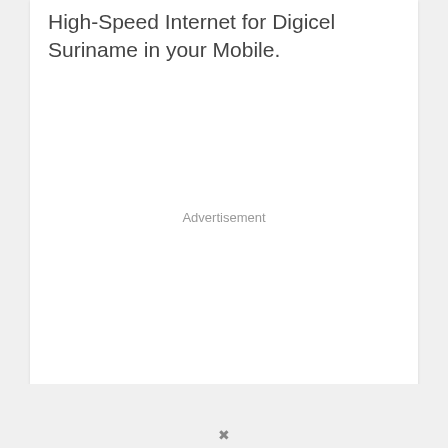High-Speed Internet for Digicel Suriname in your Mobile.
Advertisement